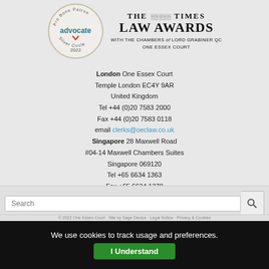[Figure (logo): Pro Bono Patron advocate Silver Circle 2022 circular badge logo]
[Figure (logo): The Times Law Awards with the Chambers of Lord Grabiner QC One Essex Court logo]
London One Essex Court Temple London EC4Y 9AR United Kingdom Tel +44 (0)20 7583 2000 Fax +44 (0)20 7583 0118 email clerks@oeclaw.co.uk Singapore 28 Maxwell Road #04-14 Maxwell Chambers Suites Singapore 069120 Tel +65 6634 1363 Fax +65 6634 1370 email singapore@oeclaw.sg
Search
© 2022 One Essex Court · Site by Sage Device · Legal Notice · Privacy & Cookies
We use cookies to track usage and preferences. I Understand